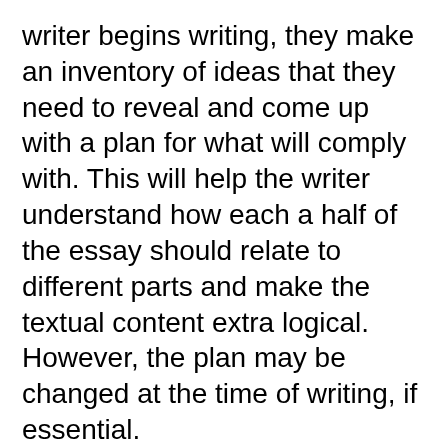writer begins writing, they make an inventory of ideas that they need to reveal and come up with a plan for what will comply with. This will help the writer understand how each a half of the essay should relate to different parts and make the textual content extra logical. However, the plan may be changed at the time of writing, if essential.
When the paper is prepared, you'll obtain notification and can be capable of evaluation it. You can ask for a free revision if you need to change something in it. Students are not always willing to share opinions, although. They are mostly interested in studying critiques before hiring a service.
All applicants for the writerâs place should